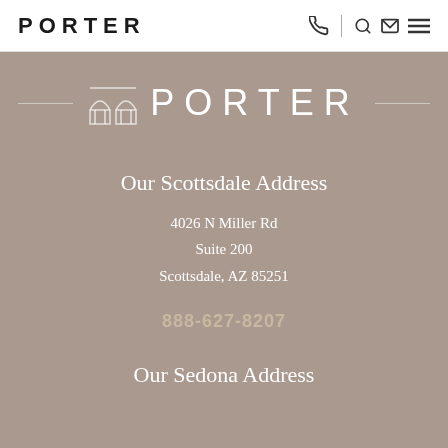PORTER
[Figure (logo): Porter law firm logo with architectural icon and decorative horizontal lines, white text on taupe background]
Our Scottsdale Address
4026 N Miller Rd
Suite 200
Scottsdale, AZ 85251
888-627-8207
Our Sedona Address